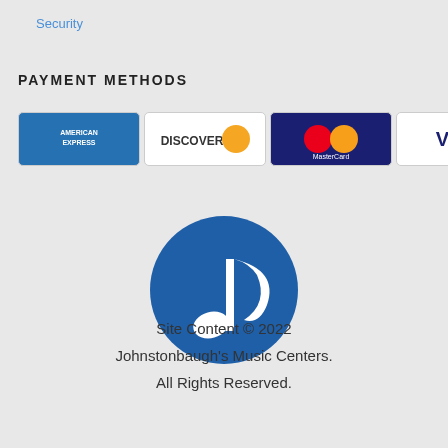Security
PAYMENT METHODS
[Figure (logo): Payment method logos: American Express, Discover, MasterCard, Visa]
[Figure (logo): Blue circle with white musical note — Johnstonbaugh's Music Centers logo]
Site Content © 2022 Johnstonbaugh's Music Centers. All Rights Reserved.